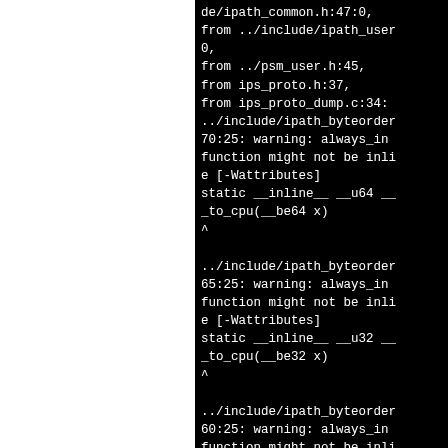de/ipath_common.h:47:0,
from ../include/ipath_user
0,
from ../psm_user.h:45,
from ips_proto.h:37,
from ips_proto_dump.c:34:
../include/ipath_byteorder
70:25: warning: always_in
function might not be inli
e [-Wattributes]
static __inline__ __u64 __
_to_cpu(__be64 x)
^

../include/ipath_byteorder
65:25: warning: always_in
function might not be inli
e [-Wattributes]
static __inline__ __u32 __
_to_cpu(__be32 x)
^

../include/ipath_byteorder
60:25: warning: always_in
function might not be inli
e [-Wattributes]